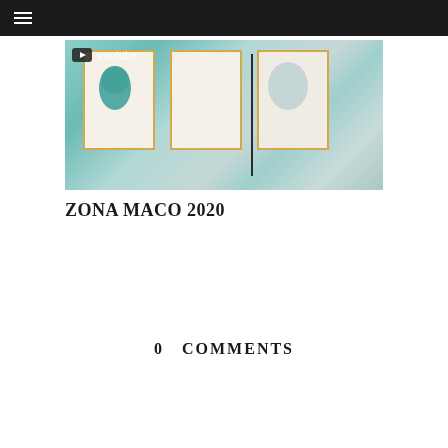☰ menu
[Figure (photo): Gallery wall showing framed artworks with teal/turquoise blob-shaped paintings on beige backgrounds, with a vertical dividing line in the center. A YouTube badge overlay is visible in the upper left of the image.]
ZONA MACO 2020
0  COMMENTS